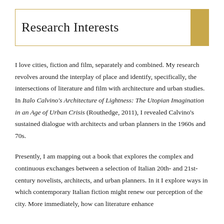Research Interests
I love cities, fiction and film, separately and combined. My research revolves around the interplay of place and identify, specifically, the intersections of literature and film with architecture and urban studies. In Italo Calvino's Architecture of Lightness: The Utopian Imagination in an Age of Urban Crisis (Routhedge, 2011), I revealed Calvino's sustained dialogue with architects and urban planners in the 1960s and 70s.
Presently, I am mapping out a book that explores the complex and continuous exchanges between a selection of Italian 20th- and 21st-century novelists, architects, and urban planners. In it I explore ways in which contemporary Italian fiction might renew our perception of the city. More immediately, how can literature enhance